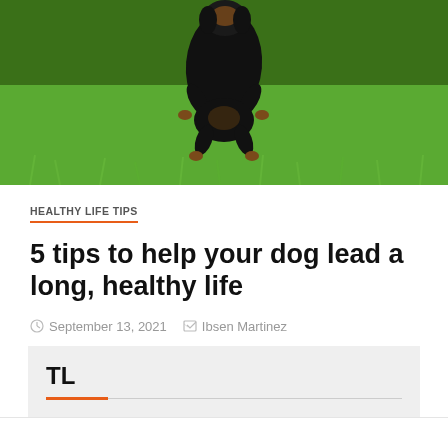[Figure (photo): Photo of a black dachshund dog running on green grass, viewed from the front/above, only the body and legs visible against a bright green lawn background.]
HEALTHY LIFE TIPS
5 tips to help your dog lead a long, healthy life
September 13, 2021   Ibsen Martinez
TL
BL